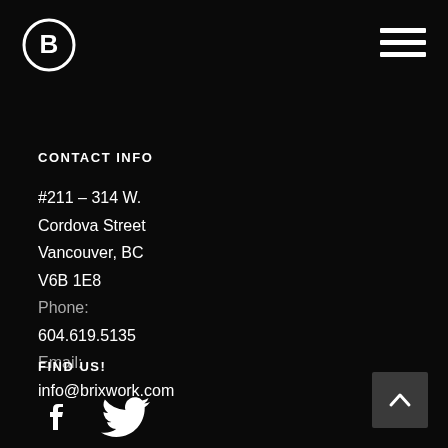[Figure (logo): Circular logo with letter B in white on black background]
[Figure (illustration): Hamburger menu icon — three white horizontal lines]
CONTACT INFO
#211 – 314 W. Cordova Street Vancouver, BC V6B 1E8 Phone: 604.619.5135 Email: info@brixwork.com
FIND US!
[Figure (illustration): Facebook and Twitter social media icons in white]
[Figure (illustration): Back-to-top arrow button — upward chevron on dark grey square]